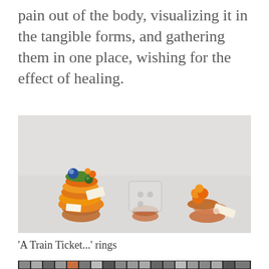pain out of the body, visualizing it in the tangible forms, and gathering them in one place, wishing for the effect of healing.
[Figure (photo): Three decorative rings arranged in a row on a light grey surface. The leftmost ring is heavily adorned with colorful (orange, green, blue) layered charms and tags. The middle ring has a translucent square/cube resin element. The rightmost ring has smaller orange circular charms and a copper band with a small label tag.]
'A Train Ticket...' rings
[Figure (photo): A grid display wall/shelf showing many small framed artworks, objects, and curiosities arranged in a dense grid pattern. Dark background with varied colorful items including prints, photographs, and small 3D objects.]